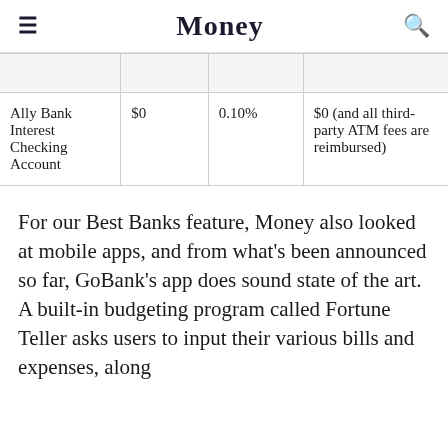Money
|  |  |  |  |
| --- | --- | --- | --- |
| Ally Bank Interest Checking Account | $0 | 0.10% | $0 (and all third-party ATM fees are reimbursed) |
For our Best Banks feature, Money also looked at mobile apps, and from what's been announced so far, GoBank's app does sound state of the art. A built-in budgeting program called Fortune Teller asks users to input their various bills and expenses, along